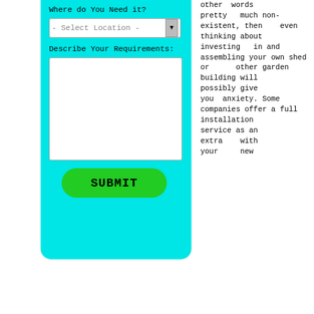[Figure (screenshot): Cyan form panel with 'Where do You Need it?' dropdown (- Select Location -), 'Describe Your Requirements:' textarea, and a green SUBMIT button]
other words pretty much non-existent, then even thinking about investing in and assembling your own shed or other garden building will possibly give you anxiety. Some companies offer a full installation service as an extra with your new purchase, however this might cost far more than using a local fitter or builder to do this instead.
If you
[Figure (photo): Sunlit green forest/trees landscape photo]
By using this website you are agreeing to the use of third-party cookies Learn More OK